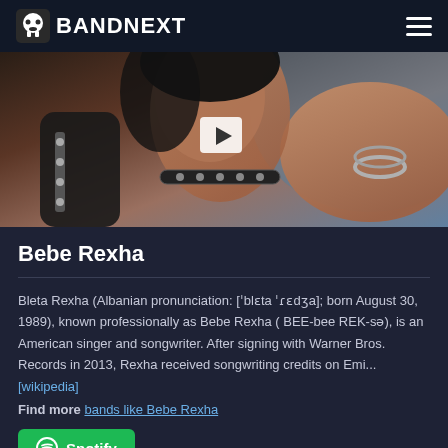BANDNEXT
[Figure (photo): Photo of Bebe Rexha with dark hair, wearing black accessories with studs and chains, looking to the side, with a music video play button overlay]
Bebe Rexha
Bleta Rexha (Albanian pronunciation: ['blɛta 'ɾɛdʒa]; born August 30, 1989), known professionally as Bebe Rexha ( BEE-bee REK-sə), is an American singer and songwriter. After signing with Warner Bros. Records in 2013, Rexha received songwriting credits on Emi... [wikipedia]
Find more bands like Bebe Rexha
[Figure (logo): Spotify button with green background]